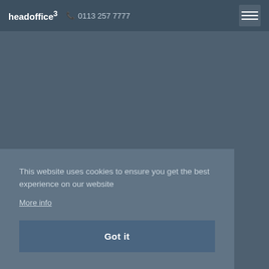headoffice³  📞 0113 257 7777
This website uses cookies to ensure you get the best experience on our website
More info
Got it